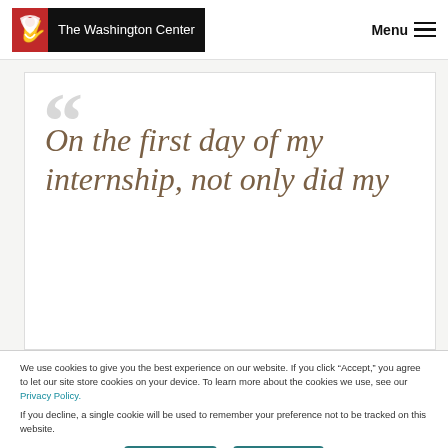The Washington Center — Menu
On the first day of my internship, not only did my
We use cookies to give you the best experience on our website. If you click "Accept," you agree to let our site store cookies on your device. To learn more about the cookies we use, see our Privacy Policy.

If you decline, a single cookie will be used to remember your preference not to be tracked on this website.